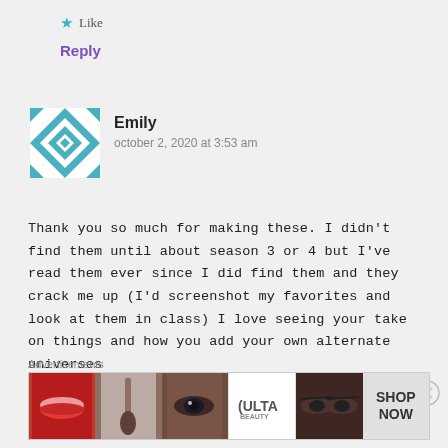★ Like
Reply
[Figure (illustration): Geometric teal/white quilt-pattern avatar for user Emily]
Emily
october 2, 2020 at 3:53 am
Thank you so much for making these. I didn't find them until about season 3 or 4 but I've read them ever since I did find them and they crack me up (I'd screenshot my favorites and look at them in class) I love seeing your take on things and how you add your own alternate universes
Advertisements
[Figure (photo): Ulta Beauty advertisement banner showing makeup close-up photos and SHOP NOW call to action]